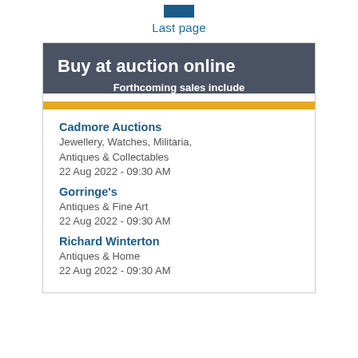Last page
[Figure (infographic): Buy at auction online advertisement box with dark grey header, gold bar, and auction listings]
Cadmore Auctions
Jewellery, Watches, Militaria, Antiques & Collectables
22 Aug 2022 - 09:30 AM
Gorringe's
Antiques & Fine Art
22 Aug 2022 - 09:30 AM
Richard Winterton
Antiques & Home
22 Aug 2022 - 09:30 AM